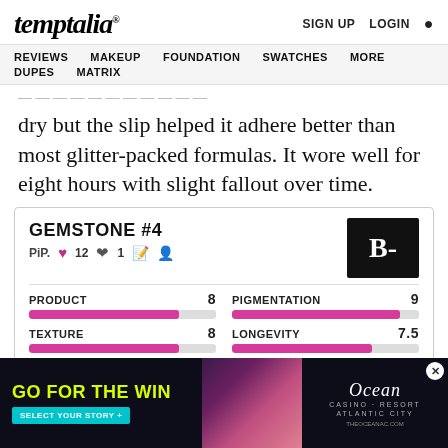temptalia® | SIGN UP | LOGIN | 🔍
REVIEWS  MAKEUP  FOUNDATION  SWATCHES  MORE  DUPES  MATRIX
dry but the slip helped it adhere better than most glitter-packed formulas. It wore well for eight hours with slight fallout over time.
GEMSTONE #4
PiP.  ♥ 12  ♥ 1  [icons]  Grade: B-
| Metric | Score |
| --- | --- |
| PRODUCT | 8 |
| TEXTURE | 8 |
| PIGMENTATION | 9 |
| LONGEVITY | 7.5 |
[Figure (infographic): Ocean Casino Resort advertisement with 'GO FOR THE WIN' headline and 'SELECT YOUR STORY +' CTA button]